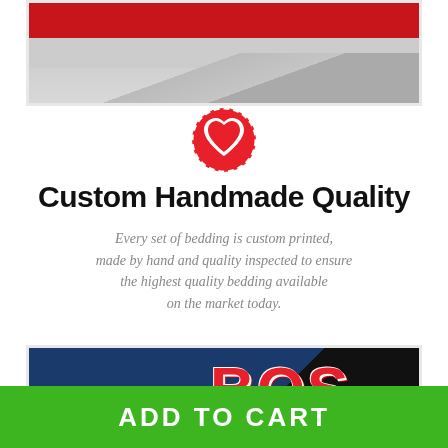[Figure (photo): Close-up of red and grey fabric / bedding with a sports jersey pattern, shown inside a white-bordered frame at the top of the page.]
[Figure (illustration): Red circular badge icon with dashed white border and a white heart shape in the center.]
Custom Handmade Quality
Every set of bedding is custom printed, made by hand and quality inspected to ensure the highest quality bedding available on the market today.
[Figure (photo): Close-up of a navy blue Boston Red Sox sports jersey with large red 'BOS' lettering, shown inside a white-bordered frame.]
ADD TO CART